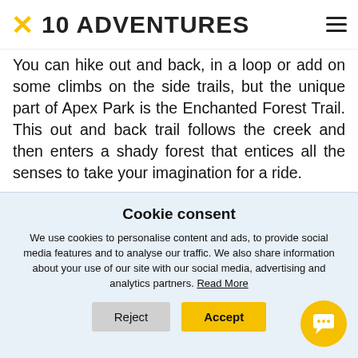10 ADVENTURES
You can hike out and back, in a loop or add on some climbs on the side trails, but the unique part of Apex Park is the Enchanted Forest Trail. This out and back trail follows the creek and then enters a shady forest that entices all the senses to take your imagination for a ride.
From the trailhead, take the stairs up to the west, cross over the bridge and make a left onto Apex Trail.
Cookie consent
We use cookies to personalise content and ads, to provide social media features and to analyse our traffic. We also share information about your use of our site with our social media, advertising and analytics partners. Read More